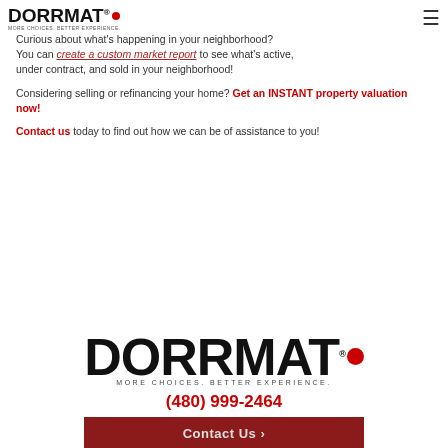DORRMAT® MORE CHOICES. BETTER EXPERIENCE.
Curious about what's happening in your neighborhood? You can create a custom market report to see what's active, under contract, and sold in your neighborhood!
Considering selling or refinancing your home? Get an INSTANT property valuation now!
Contact us today to find out how we can be of assistance to you!
[Figure (logo): DORRMAT logo with tagline MORE CHOICES. BETTER EXPERIENCE.]
(480) 999-2464
Contact Us